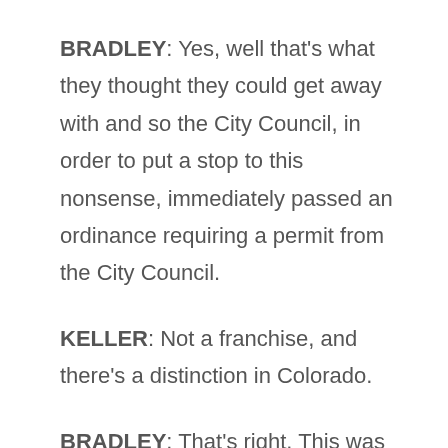BRADLEY: Yes, well that's what they thought they could get away with and so the City Council, in order to put a stop to this nonsense, immediately passed an ordinance requiring a permit from the City Council.
KELLER: Not a franchise, and there's a distinction in Colorado.
BRADLEY: That's right. This was a permit that we had required. If we'd required a franchise we would have had to have gone to a vote of the people to change the charter, by the way...